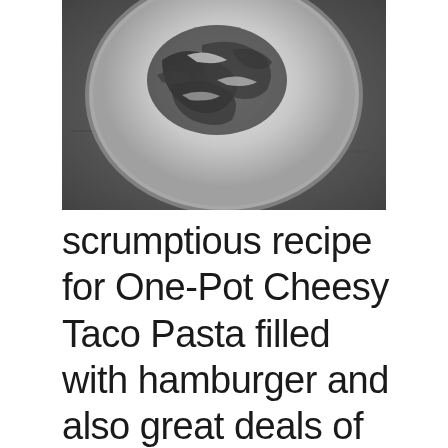[Figure (photo): Black and white overhead photo of a white plate containing pasta dish (One-Pot Cheesy Taco Pasta) on a dark textured surface]
scrumptious recipe for One-Pot Cheesy Taco Pasta filled with hamburger and also great deals of shredded